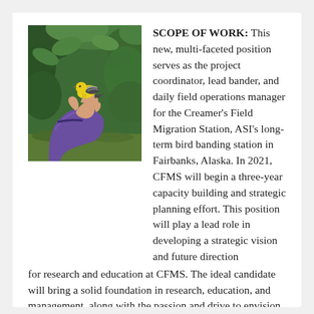[Figure (photo): A hand holding a small yellow and black bird (warbler) with green foliage in the background. The person is wearing a purple sleeve.]
SCOPE OF WORK: This new, multi-faceted position serves as the project coordinator, lead bander, and daily field operations manager for the Creamer's Field Migration Station, ASI's long-term bird banding station in Fairbanks, Alaska. In 2021, CFMS will begin a three-year capacity building and strategic planning effort. This position will play a lead role in developing a strategic vision and future direction for research and education at CFMS. The ideal candidate will bring a solid foundation in research, education, and management, along with the passion and drive to envision and develop creative future directions for this long-term avian conservation project. ASI's projects utilize a community-based model, integrating volunteers, students, and teachers, and our projects are accessible to the general public. Our work is guided by community advisory committees with diverse voices